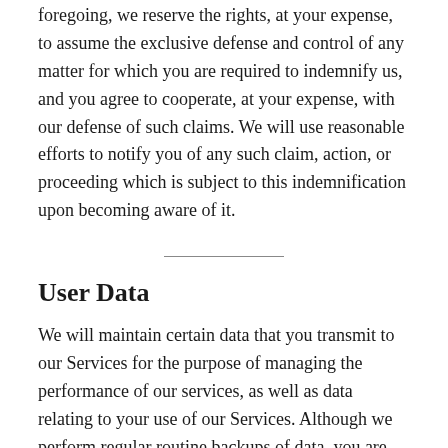foregoing, we reserve the rights, at your expense, to assume the exclusive defense and control of any matter for which you are required to indemnify us, and you agree to cooperate, at your expense, with our defense of such claims. We will use reasonable efforts to notify you of any such claim, action, or proceeding which is subject to this indemnification upon becoming aware of it.
User Data
We will maintain certain data that you transmit to our Services for the purpose of managing the performance of our services, as well as data relating to your use of our Services. Although we perform regular routine backups of data, you are solely responsible for all data that you transmit or that relates to any activity you have undertaken using our Sources. You agree that we shall have no liability to you for any loss or corruption of any